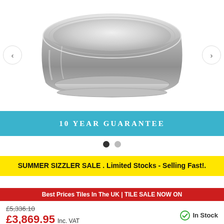[Figure (photo): Stainless steel freestanding bathtub viewed from above/side angle, showing metallic silver finish with curved rim and base detail. Left and right navigation arrow buttons visible.]
10 YEAR GUARANTEE
SUMMER SIZZLER SALE . Limited Stocks - Selling Fast!.
Best Prices Tiles In The UK | TILE SALE NOW ON
£5,336.10
£3,869.95 Inc. VAT
In Stock